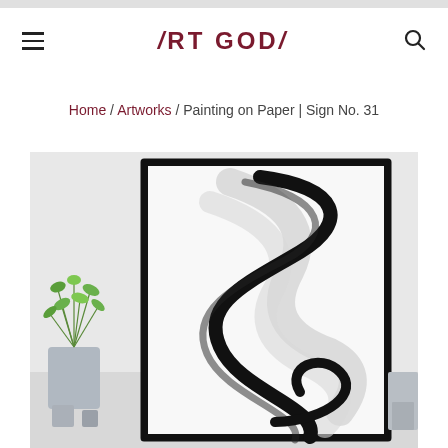ART GODA — navigation bar with hamburger menu and search icon
Home / Artworks / Painting on Paper | Sign No. 31
[Figure (photo): Framed abstract painting with black brush strokes in a curved S-shape pattern on white background, displayed in a modern room setting with a plant in a grey vase on left side.]